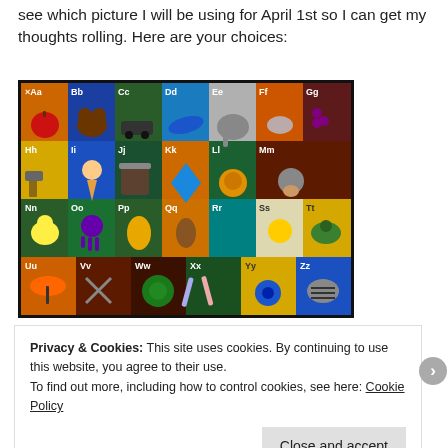see which picture I will be using for April 1st so I can get my thoughts rolling. Here are your choices:
[Figure (illustration): Colorful children's alphabet rug/chart showing letters Aa through Zz in a 7-column grid with cartoon illustrations for each letter]
Privacy & Cookies: This site uses cookies. By continuing to use this website, you agree to their use.
To find out more, including how to control cookies, see here: Cookie Policy
Close and accept